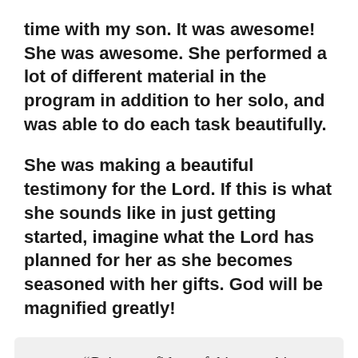opportunity, the health, and even the quality time with my son. It was awesome! She was awesome. She performed a lot of different material in the program in addition to her solo, and was able to do each task beautifully.
She was making a beautiful testimony for the Lord. If this is what she sounds like in just getting started, imagine what the Lord has planned for her as she becomes seasoned with her gifts. God will be magnified greatly!
“Being confident of this very thing, that he which hath begun a good